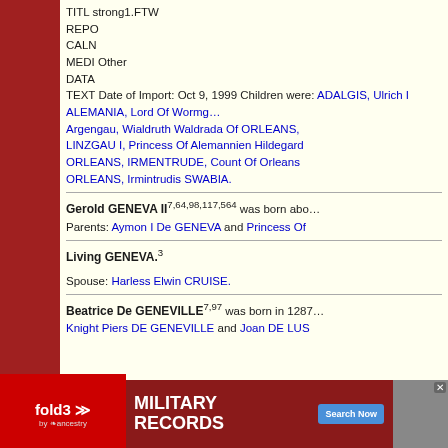TITL strong1.FTW
REPO
CALN
MEDI Other
DATA
TEXT Date of Import: Oct 9, 1999 Children were: ADALGIS, Ulrich I ALEMANIA, Lord Of Wormgau, Argengau, Wialdruth Waldrada Of ORLEANS, LINZGAU I, Princess Of Alemannien Hildegard ORLEANS, IRMENTRUDE, Count Of Orleans ORLEANS, Irmintrudis SWABIA.
Gerold GENEVA II^{7,64,98,117,564} was born about... Parents: Aymon I De GENEVA and Princess Of...
Living GENEVA.^3
Spouse: Harless Elwin CRUISE.
Beatrice De GENEVILLE^{7,97} was born in 1287... Knight Piers DE GENEVILLE and Joan DE LUS...
[Figure (infographic): Fold3 by Ancestry advertisement banner for Military Records with Search Now button]